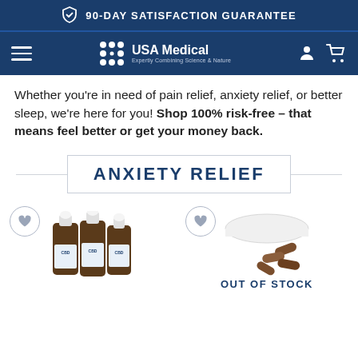90-DAY SATISFACTION GUARANTEE
[Figure (logo): USA Medical logo with dot grid and text 'Expertly Combining Science & Nature']
Whether you're in need of pain relief, anxiety relief, or better sleep, we're here for you! Shop 100% risk-free – that means feel better or get your money back.
ANXIETY RELIEF
[Figure (photo): Three CBD oil dropper bottles (brown glass) with white caps and CBD labels]
[Figure (photo): Pills and capsules spilled from a white container lid, with OUT OF STOCK label below]